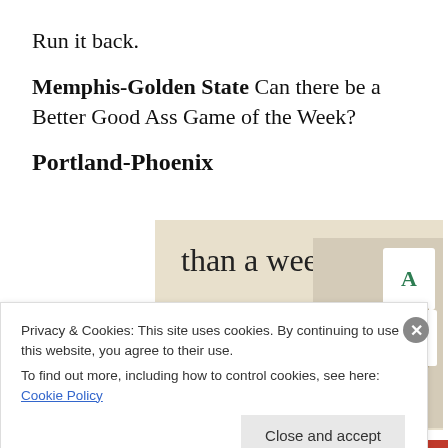Run it back.
Memphis-Golden State Can there be a Better Good Ass Game of the Week?
Portland-Phoenix
[Figure (screenshot): Advertisement banner with beige background showing text 'than a week', a green 'Explore options' button, and app/website screen mockups on the right side.]
Privacy & Cookies: This site uses cookies. By continuing to use this website, you agree to their use.
To find out more, including how to control cookies, see here: Cookie Policy
Close and accept